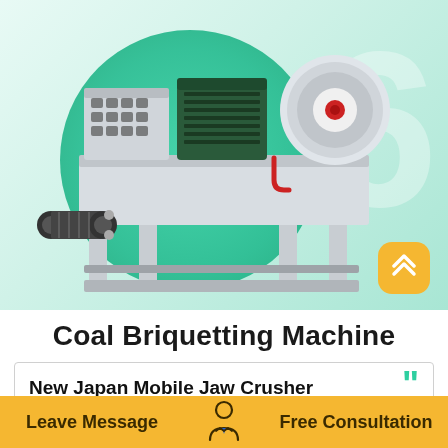[Figure (photo): Industrial coal briquetting machine on a teal/green gradient background with large faded '6' watermark. Machine is white/grey with conveyor belt, cylindrical press rollers, and motor. A yellow rounded square scroll-to-top button is in the lower right of the image area.]
Coal Briquetting Machine
New Japan Mobile Jaw Crusher
Mobile Stone Crusher In Japanese. Install
Leave Message
Free Consultation